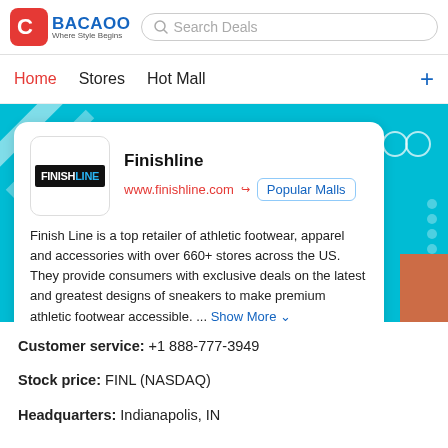BACAOO – Where Style Begins | Search Deals
Home  Stores  Hot Mall
[Figure (screenshot): Finishline store card on teal banner background showing Finish Line logo, URL www.finishline.com, Popular Malls button, and description text]
Customer service: +1 888-777-3949
Stock price: FINL (NASDAQ)
Headquarters: Indianapolis, IN